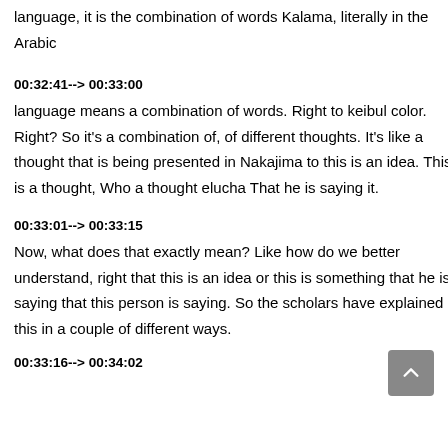language, it is the combination of words Kalama, literally in the Arabic
00:32:41--> 00:33:00
language means a combination of words. Right to keibul color. Right? So it's a combination of, of different thoughts. It's like a thought that is being presented in Nakajima to this is an idea. This is a thought, Who a thought elucha That he is saying it.
00:33:01--> 00:33:15
Now, what does that exactly mean? Like how do we better understand, right that this is an idea or this is something that he is saying that this person is saying. So the scholars have explained this in a couple of different ways.
00:33:16--> 00:34:02